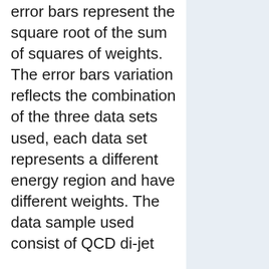error bars represent the square root of the sum of squares of weights. The error bars variation reflects the combination of the three data sets used, each data set represents a different energy region and have different weights. The data sample used consist of QCD di-jet